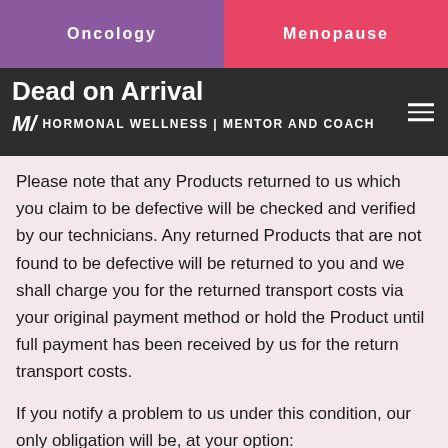Oncology | Menopause
Dead on Arrival
Please note that any Products returned to us which you claim to be defective will be checked and verified by our technicians. Any returned Products that are not found to be defective will be returned to you and we shall charge you for the returned transport costs via your original payment method or hold the Product until full payment has been received by us for the return transport costs.
If you notify a problem to us under this condition, our only obligation will be, at your option:
(a) to make good any shortage or non-delivery;
(b) to replace or repair any goods that are damaged or defective; or
(c) to refund to you the amount paid by you for the